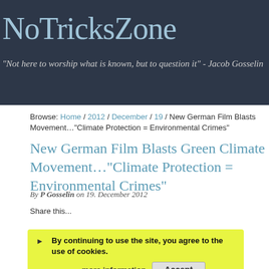NoTricksZone
"Not here to worship what is known, but to question it" - Jacob Gosselin
Browse: Home / 2012 / December / 19 / New German Film Blasts Movement…"Climate Protection = Environmental Crimes"
New German Film Blasts Green Climate Movement…"Climate Protection = Environmental Crimes"
By P Gosselin on 19. December 2012
Share this...
By continuing to use the site, you agree to the use of cookies. more information Accept
This week's print edition of FOCUS includes an interview with the environmental film to be shown in German cinemas beginning in J